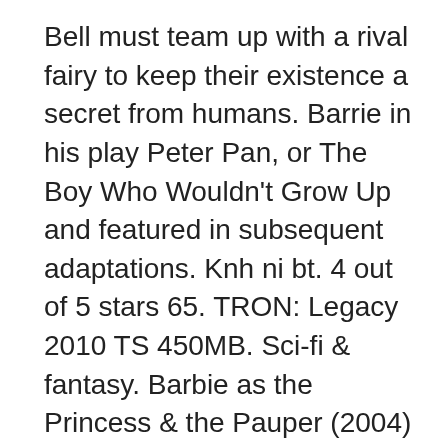Bell must team up with a rival fairy to keep their existence a secret from humans. Barrie in his play Peter Pan, or The Boy Who Wouldn't Grow Up and featured in subsequent adaptations. Knh ni bt. 4 out of 5 stars 65. TRON: Legacy 2010 TS 450MB. Sci-fi & fantasy. Barbie as the Princess & the Pauper (2004) 7. Reviews There are no reviews yet. mp4: Tinkerbell and the Great Fairy Rescue. avi: Tinkerbell. These include Tinkerbell, Tinkerbell and the Great Fairy Rescue, Tinkerbell and the Lost Treasure, Disney Secret of the Wings, The Pirate Fairy and Tinkerbell and the Legend of the Neverbeast. Frankly I'm happy that Disney hasn't messed with that formula for her since it was introduced in these movies, and hope they don't mess it up. Veselá a talentovaná víla Campanella. Tato "díl" je vlastně 2 od M...